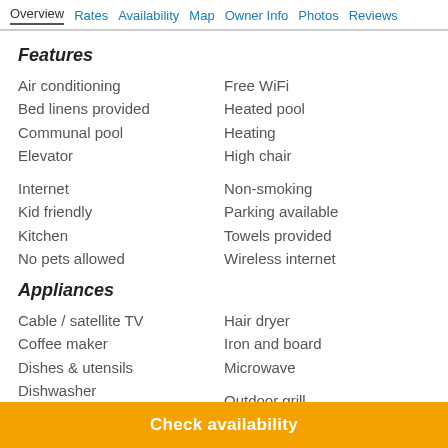Overview  Rates  Availability  Map  Owner Info  Photos  Reviews
Features
Air conditioning
Bed linens provided
Communal pool
Elevator
Free WiFi
Heated pool
Heating
High chair
Internet
Kid friendly
Kitchen
No pets allowed
Non-smoking
Parking available
Towels provided
Wireless internet
Appliances
Cable / satellite TV
Coffee maker
Dishes & utensils
Dishwasher
Hair dryer
Iron and board
Microwave
Outdoor grill
Oven
Refrigerator
Check availability